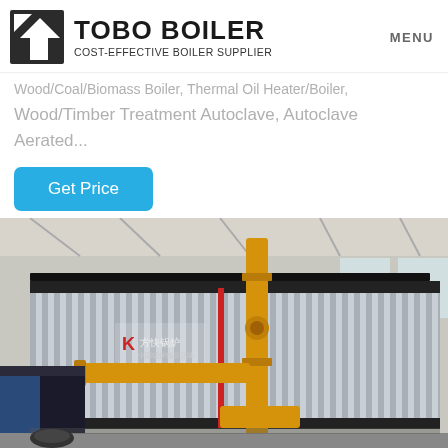TOBO BOILER — COST-EFFECTIVE BOILER SUPPLIER | MENU
Wood/Coal/Biomass Boiler, Thermal Oil Heater/Boiler,
Wood/Timber Treatment Autoclave, Autoclave Aerated...
Get Price
[Figure (photo): Industrial boiler unit with silver corrugated metal casing and yellow gas pipes, inside a large factory/warehouse. Chinese manufacturer branding visible on the unit.]